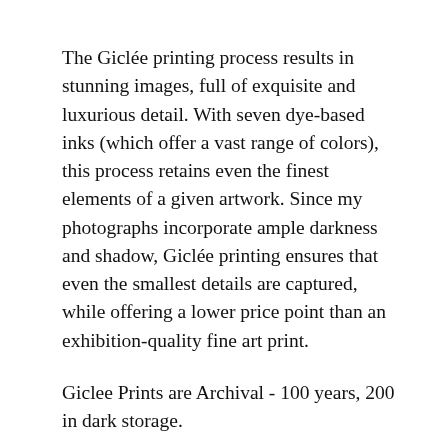The Giclée printing process results in stunning images, full of exquisite and luxurious detail. With seven dye-based inks (which offer a vast range of colors), this process retains even the finest elements of a given artwork. Since my photographs incorporate ample darkness and shadow, Giclée printing ensures that even the smallest details are captured, while offering a lower price point than an exhibition-quality fine art print.
Giclee Prints are Archival - 100 years, 200 in dark storage.
Artist Statement:
Music is the universal healer. A familiar melody can be a